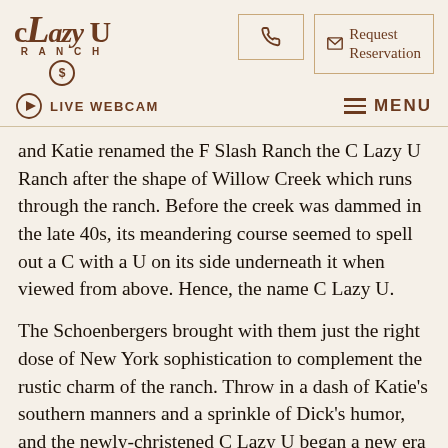C Lazy U Ranch — Logo, phone button, Request Reservation button
LIVE WEBCAM | MENU
and Katie renamed the F Slash Ranch the C Lazy U Ranch after the shape of Willow Creek which runs through the ranch. Before the creek was dammed in the late 40s, its meandering course seemed to spell out a C with a U on its side underneath it when viewed from above. Hence, the name C Lazy U.
The Schoenbergers brought with them just the right dose of New York sophistication to complement the rustic charm of the ranch. Throw in a dash of Katie's southern manners and a sprinkle of Dick's humor, and the newly-christened C Lazy U began a new era of success.